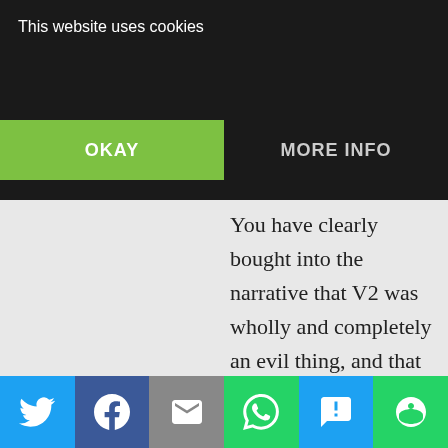...did deliberately contradict the entire content of Veritatis splendor?
This website uses cookies
OKAY
MORE INFO
You have clearly bought into the narrative that V2 was wholly and completely an evil thing, and that therefore all the Popes after, who acknowledged the Council and cited from its documents, are complicit in the evil. But this narrative does not express the reality of things. The Council was certainly a
[Figure (screenshot): Bottom share bar with social media icons: Twitter (blue), Facebook (dark blue), Email (gray), WhatsApp (green), SMS (blue), More (green)]